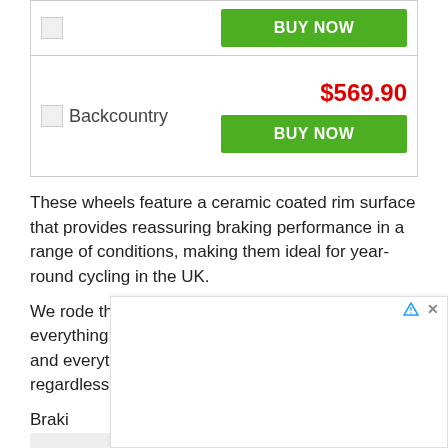| [logo] |  | BUY NOW |
| [logo] | Backcountry | $569.90 | BUY NOW |
These wheels feature a ceramic coated rim surface that provides reassuring braking performance in a range of conditions, making them ideal for year-round cycling in the UK.
We rode these wheels for several months in everything from glorious sunshine to freezing rain and everything in between, and they were excellent regardless of the weather.
Braking performance is very good, and the aluminium…